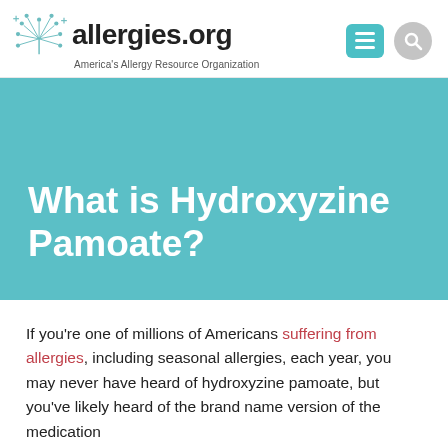allergies.org — America's Allergy Resource Organization
What is Hydroxyzine Pamoate?
If you're one of millions of Americans suffering from allergies, including seasonal allergies, each year, you may never have heard of hydroxyzine pamoate, but you've likely heard of the brand name version of the medication